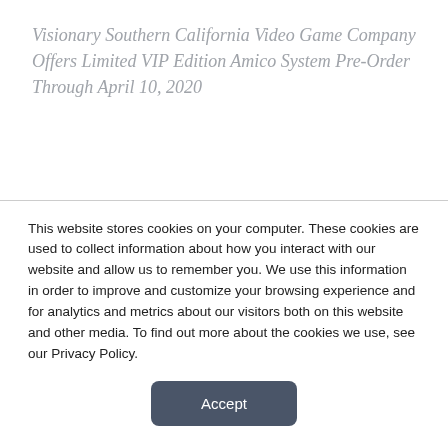Visionary Southern California Video Game Company Offers Limited VIP Edition Amico System Pre-Order Through April 10, 2020
IRVINE, Calif. – April 3, 2020 – With the global release of the affordable, family-friendly Amico family entertainment system scheduled later this year, Orange County-based Intellivision launched a limited VIP Edition pre-order program. Fans who take advantage of the pre-order have the option to choose
This website stores cookies on your computer. These cookies are used to collect information about how you interact with our website and allow us to remember you. We use this information in order to improve and customize your browsing experience and for analytics and metrics about our visitors both on this website and other media. To find out more about the cookies we use, see our Privacy Policy.